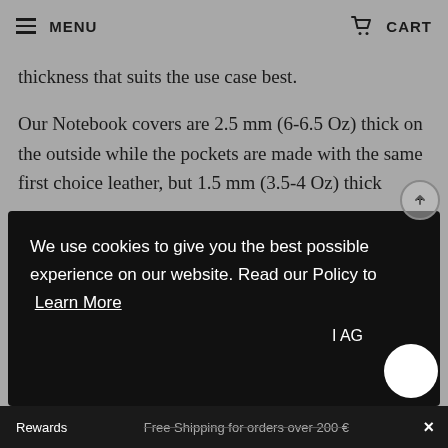MENU | CART
thickness that suits the use case best.
Our Notebook covers are 2.5 mm (6-6.5 Oz) thick on the outside while the pockets are made with the same first choice leather, but 1.5 mm (3.5-4 Oz) thick
Hand-dyed and finished with smooth
We use cookies to give you the best possible experience on our website. Read our Policy to Learn More
I AG
Rewards   Free Shipping for orders over 200 €   ×